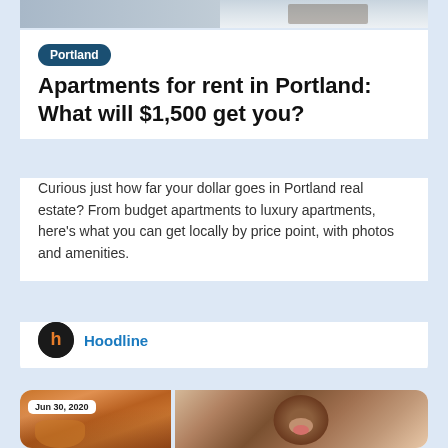[Figure (photo): Top portion of an apartment interior photo, partially visible at top of page]
Portland
Apartments for rent in Portland: What will $1,500 get you?
Curious just how far your dollar goes in Portland real estate? From budget apartments to luxury apartments, here's what you can get locally by price point, with photos and amenities.
Hoodline
[Figure (photo): Two-panel image: left panel shows an orange tabby cat with a date badge 'Jun 30, 2020', right panel shows a pug dog with tongue out]